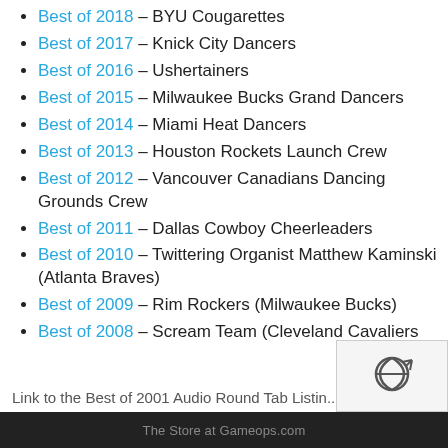Best of 2018 – BYU Cougarettes
Best of 2017 – Knick City Dancers
Best of 2016 – Ushertainers
Best of 2015 – Milwaukee Bucks Grand Dancers
Best of 2014 – Miami Heat Dancers
Best of 2013 – Houston Rockets Launch Crew
Best of 2012 – Vancouver Canadians Dancing Grounds Crew
Best of 2011 – Dallas Cowboy Cheerleaders
Best of 2010 – Twittering Organist Matthew Kaminski (Atlanta Braves)
Best of 2009 – Rim Rockers (Milwaukee Bucks)
Best of 2008 – Scream Team (Cleveland Cavaliers)
The Store at Gameops.com